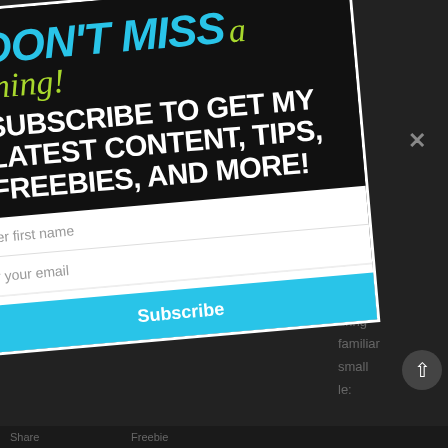[Figure (screenshot): A rotated modal popup card on a dark background. The card has a black background with a white border. The heading reads 'DON'T MISS a thing!' with 'DON'T MISS' in bold cyan/blue italic text and 'a thing!' in green cursive text. Below is white bold text reading 'SUBSCRIBE TO GET MY LATEST CONTENT, TIPS, FREEBIES, AND MORE!' A form below has fields for first name and email, and a cyan 'Subscribe' button. To the right is partial grey body text and a close X button. A scroll-to-top dark circular button appears at lower right.]